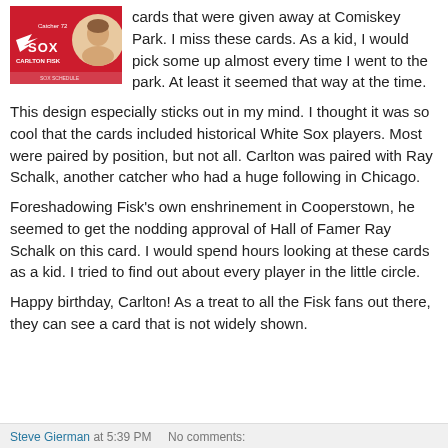[Figure (photo): A red baseball card for Carlton Fisk, White Sox Catcher #72, with the Sox logo and a portrait photo of Carlton Fisk]
cards that were given away at Comiskey Park. I miss these cards. As a kid, I would pick some up almost every time I went to the park. At least it seemed that way at the time.
This design especially sticks out in my mind. I thought it was so cool that the cards included historical White Sox players. Most were paired by position, but not all. Carlton was paired with Ray Schalk, another catcher who had a huge following in Chicago.
Foreshadowing Fisk's own enshrinement in Cooperstown, he seemed to get the nodding approval of Hall of Famer Ray Schalk on this card. I would spend hours looking at these cards as a kid. I tried to find out about every player in the little circle.
Happy birthday, Carlton! As a treat to all the Fisk fans out there, they can see a card that is not widely shown.
Steve Gierman at 5:39 PM    No comments: